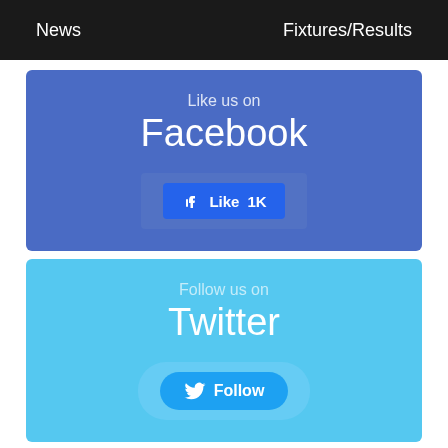News   Fixtures/Results
[Figure (screenshot): Facebook Like widget section with blue background, showing 'Like us on Facebook' text and a Like 1K button]
[Figure (screenshot): Twitter Follow widget section with light blue background, showing 'Follow us on Twitter' text and a Follow button]